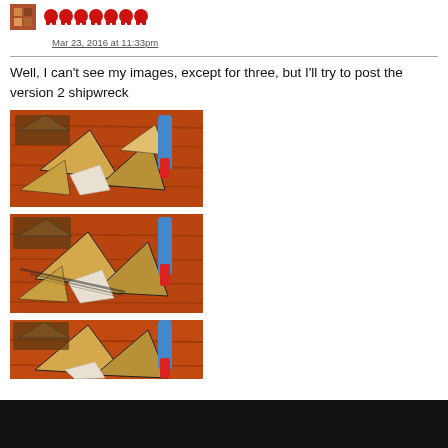[Figure (illustration): User avatar (small pixelated icon) and row of red skull icons indicating user rank or status]
Mar 23, 2016 at 11:33pm
Well, I can't see my images, except for three, but I'll try to post the version 2 shipwreck
[Figure (photo): Photo of paper model shipwreck pieces on a wooden table surface, top-down angle. Shows various cardboard/paper geometric shapes including triangles.]
[Figure (photo): Second photo of the same paper model shipwreck pieces from a slightly closer angle, showing similar triangular cardboard shapes on wooden surface.]
[Figure (photo): Third photo of the paper model shipwreck pieces, partially cut off at bottom of page.]